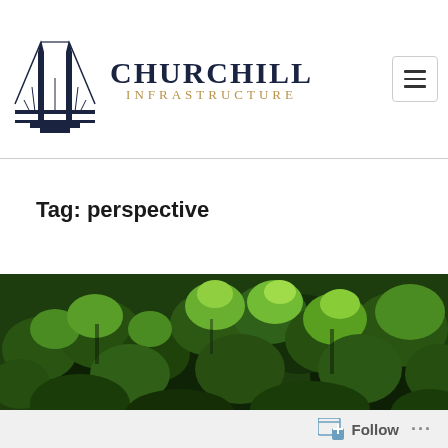[Figure (logo): Churchill Infrastructure logo with a bridge icon and text CHURCHILL INFRASTRUCTURE]
Tag: perspective
[Figure (photo): Aerial view of a lush green forest canopy with dense treetops]
Follow ...